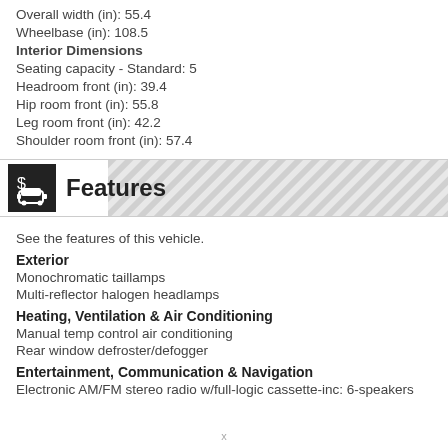Overall width (in): 55.4
Wheelbase (in): 108.5
Interior Dimensions
Seating capacity - Standard: 5
Headroom front (in): 39.4
Hip room front (in): 55.8
Leg room front (in): 42.2
Shoulder room front (in): 57.4
Features
See the features of this vehicle.
Exterior
Monochromatic taillamps
Multi-reflector halogen headlamps
Heating, Ventilation & Air Conditioning
Manual temp control air conditioning
Rear window defroster/defogger
Entertainment, Communication & Navigation
Electronic AM/FM stereo radio w/full-logic cassette-inc: 6-speakers
x